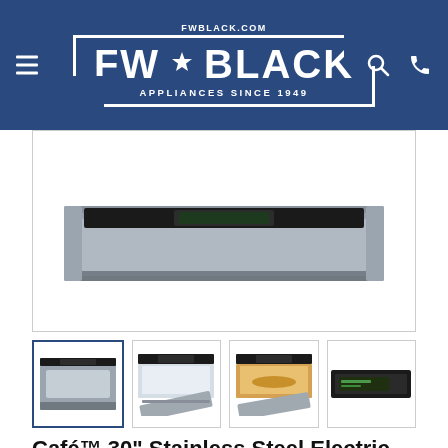[Figure (logo): FW Black Appliances logo on dark blue header background with hamburger menu, search icon, and phone icon]
[Figure (photo): Café 30 inch Stainless Steel Electric Speed Oven main product photo showing top portion of the appliance]
[Figure (photo): Four thumbnail images of the oven: closed front view (selected), open door view, open with food inside, and control panel close-up]
Café™ 30" Stainless Steel Electric Speed Oven